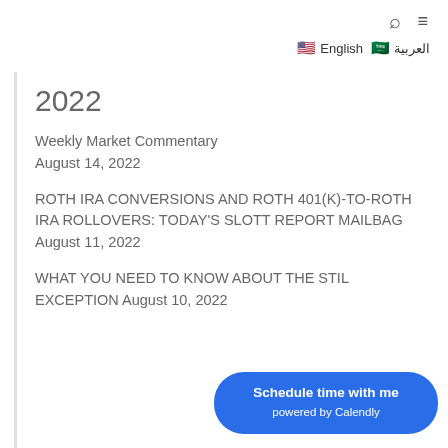🔍 ≡ 🇺🇸 English 🇸🇦 العربية
2022
Weekly Market Commentary August 14, 2022
ROTH IRA CONVERSIONS AND ROTH 401(K)-TO-ROTH IRA ROLLOVERS: TODAY'S SLOTT REPORT MAILBAG August 11, 2022
WHAT YOU NEED TO KNOW ABOUT THE STILL EXCEPTION August 10, 2022